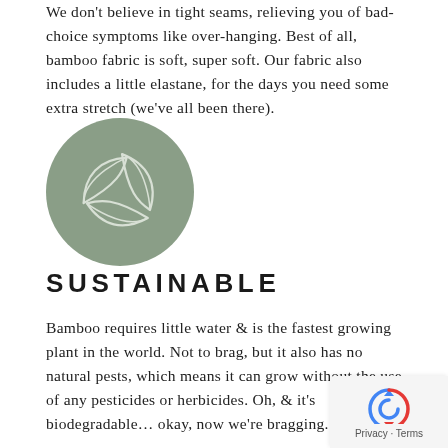We don't believe in tight seams, relieving you of bad-choice symptoms like over-hanging. Best of all, bamboo fabric is soft, super soft. Our fabric also includes a little elastane, for the days you need some extra stretch (we've all been there).
[Figure (illustration): Circular green-grey icon with three leaf outlines arranged in a pinwheel pattern]
SUSTAINABLE
Bamboo requires little water & is the fastest growing plant in the world. Not to brag, but it also has no natural pests, which means it can grow without the use of any pesticides or herbicides. Oh, & it's biodegradable... okay, now we're bragging.